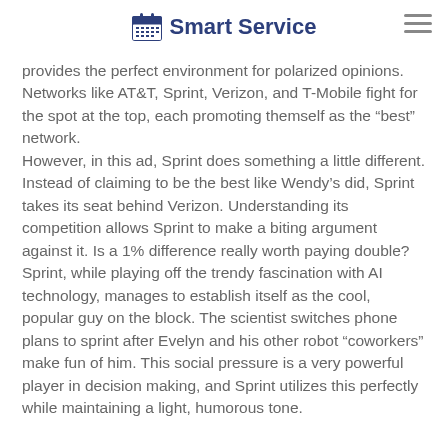Smart Service
provides the perfect environment for polarized opinions. Networks like AT&T, Sprint, Verizon, and T-Mobile fight for the spot at the top, each promoting themself as the “best” network. However, in this ad, Sprint does something a little different. Instead of claiming to be the best like Wendy’s did, Sprint takes its seat behind Verizon. Understanding its competition allows Sprint to make a biting argument against it. Is a 1% difference really worth paying double? Sprint, while playing off the trendy fascination with AI technology, manages to establish itself as the cool, popular guy on the block. The scientist switches phone plans to sprint after Evelyn and his other robot “coworkers” make fun of him. This social pressure is a very powerful player in decision making, and Sprint utilizes this perfectly while maintaining a light, humorous tone.